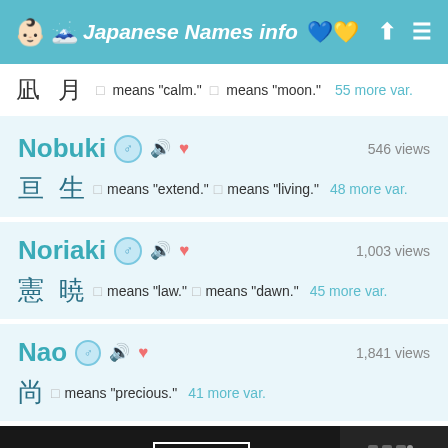Japanese Names info
凪 月  □ means "calm."  □ means "moon."  55 more var.
Nobuki  ♂ 🔊 ❤  546 views
亘 生  □ means "extend."  □ means "living."  48 more var.
Noriaki  ♂ 🔊 ❤  1,003 views
憲 暁  □ means "law."  □ means "dawn."  45 more var.
Nao  ♂ 🔊 ❤  1,841 views
尚  □ means "precious."  41 more var.
[Figure (screenshot): SHE CAN STEM advertisement banner with Learn More button]